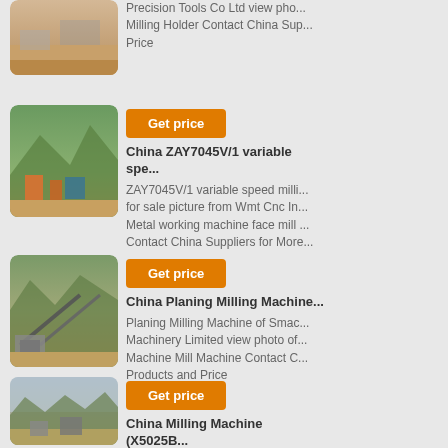[Figure (photo): Outdoor quarry/mining site with sandy terrain]
Precision Tools Co Ltd view photo... Milling Holder Contact China Sup... Price
[Figure (photo): Mining/quarry site with orange machinery and mountains in background]
Get price
China ZAY7045V/1 variable spe...
ZAY7045V/1 variable speed milli... for sale picture from Wmt Cnc In... Metal working machine face mill ... Contact China Suppliers for More...
[Figure (photo): Industrial mining plant with large conveyor belts and crushers]
Get price
China Planing Milling Machine...
Planing Milling Machine of Smac... Machinery Limited view photo of... Machine Mill Machine Contact C... Products and Price
[Figure (photo): Outdoor mining or quarry site with overcast sky]
Get price
China Milling Machine (X5025B...